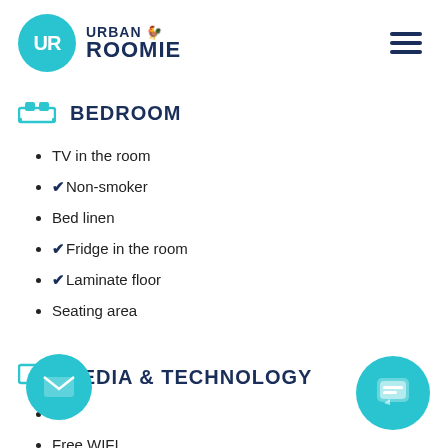Urban Roomie logo and navigation menu
BEDROOM
TV in the room
✓Non-smoker
Bed linen
✓Fridge in the room
✓Laminate floor
Seating area
MEDIA & TECHNOLOGY
TV
Free WIFI